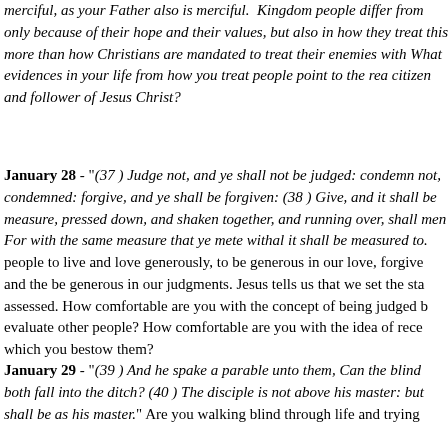merciful, as your Father also is merciful. Kingdom people differ from only because of their hope and their values, but also in how they treat this more than how Christians are mandated to treat their enemies with What evidences in your life from how you treat people point to the rea citizen and follower of Jesus Christ?
January 28 - "(37 ) Judge not, and ye shall not be judged: condemn not, condemned: forgive, and ye shall be forgiven: (38 ) Give, and it shall measure, pressed down, and shaken together, and running over, shall men For with the same measure that ye mete withal it shall be measured to people to live and love generously, to be generous in our love, forgive and the be generous in our judgments. Jesus tells us that we set the sta assessed. How comfortable are you with the concept of being judged b evaluate other people? How comfortable are you with the idea of rece which you bestow them?
January 29 - "(39 ) And he spake a parable unto them, Can the blind both fall into the ditch? (40 ) The disciple is not above his master: but shall be as his master." Are you walking blind through life and trying